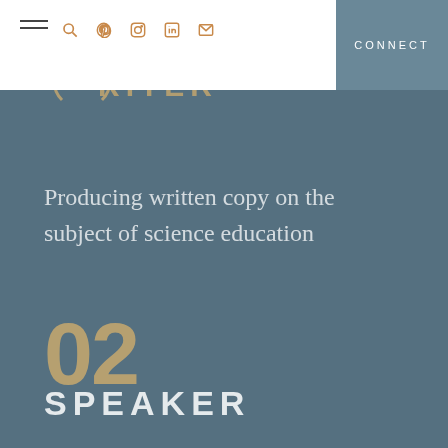CONNECT
[Figure (screenshot): Website navigation bar with hamburger menu icon, search icon, Pinterest icon, Instagram icon, LinkedIn icon, and email icon on white background. Partial logo text 'WRITER' visible below in gold. Dark teal/slate 'CONNECT' button on the right side.]
Producing written copy on the subject of science education
02 SPEAKER